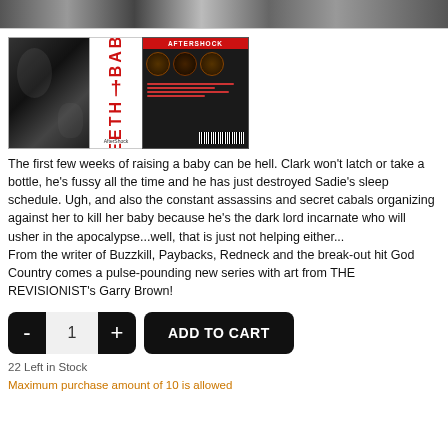[Figure (photo): Top cropped black and white image, partial view of a comic book cover]
[Figure (photo): Product image showing comic book front cover (black and white art), spine with BABY+TEETH title in red, and back cover with AfterShock branding and circular images]
The first few weeks of raising a baby can be hell. Clark won't latch or take a bottle, he's fussy all the time and he has just destroyed Sadie's sleep schedule. Ugh, and also the constant assassins and secret cabals organizing against her to kill her baby because he's the dark lord incarnate who will usher in the apocalypse...well, that is just not helping either...
From the writer of Buzzkill, Paybacks, Redneck and the break-out hit God Country comes a pulse-pounding new series with art from THE REVISIONIST's Garry Brown!
22 Left in Stock
Maximum purchase amount of 10 is allowed